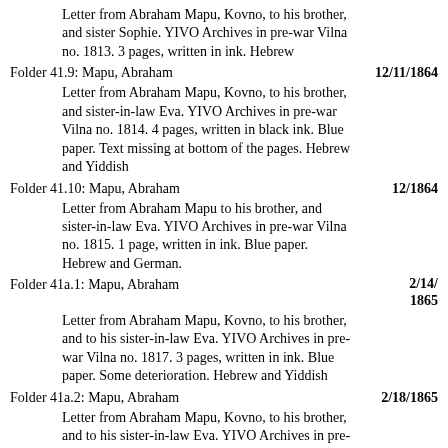Letter from Abraham Mapu, Kovno, to his brother, and sister Sophie. YIVO Archives in pre-war Vilna no. 1813. 3 pages, written in ink. Hebrew
Folder 41.9: Mapu, Abraham    12/11/1864
Letter from Abraham Mapu, Kovno, to his brother, and sister-in-law Eva. YIVO Archives in pre-war Vilna no. 1814. 4 pages, written in black ink. Blue paper. Text missing at bottom of the pages. Hebrew and Yiddish
Folder 41.10: Mapu, Abraham    12/1864
Letter from Abraham Mapu to his brother, and sister-in-law Eva. YIVO Archives in pre-war Vilna no. 1815. 1 page, written in ink. Blue paper. Hebrew and German.
Folder 41a.1: Mapu, Abraham    2/14/1865
Letter from Abraham Mapu, Kovno, to his brother, and to his sister-in-law Eva. YIVO Archives in pre-war Vilna no. 1817. 3 pages, written in ink. Blue paper. Some deterioration. Hebrew and Yiddish
Folder 41a.2: Mapu, Abraham    2/18/1865
Letter from Abraham Mapu, Kovno, to his brother, and to his sister-in-law Eva. YIVO Archives in pre-war Vilna no. 1818. 4 pages, written in ink. Blue paper. Hebrew and German